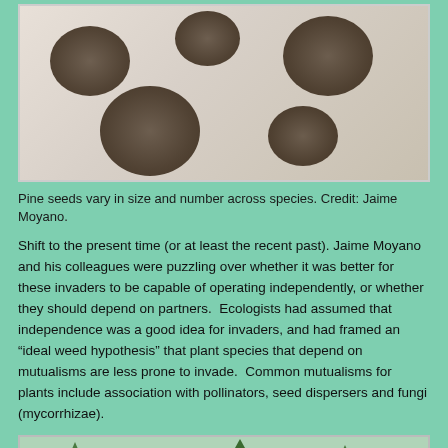[Figure (photo): Photo of multiple piles of pine seeds of varying sizes arranged on a light background, showing size variation across species.]
Pine seeds vary in size and number across species. Credit: Jaime Moyano.
Shift to the present time (or at least the recent past). Jaime Moyano and his colleagues were puzzling over whether it was better for these invaders to be capable of operating independently, or whether they should depend on partners.  Ecologists had assumed that independence was a good idea for invaders, and had framed an “ideal weed hypothesis” that plant species that depend on mutualisms are less prone to invade.  Common mutualisms for plants include association with pollinators, seed dispersers and fungi (mycorrhizae).
[Figure (photo): Photo of pine trees (young and adult) in a landscape setting, partially visible at bottom of page.]